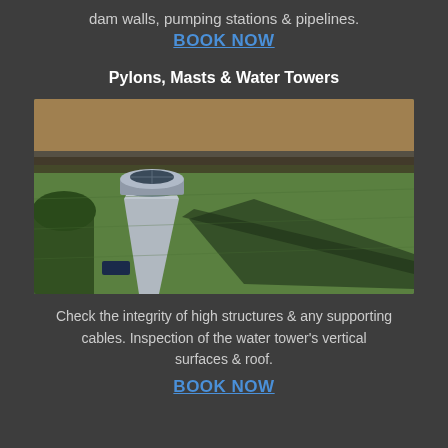dam walls, pumping stations & pipelines.
BOOK NOW
Pylons, Masts & Water Towers
[Figure (photo): Aerial drone photograph of a water tower in a green field, casting a long shadow across the grass. The tower has a circular top structure and tapered concrete base. Surrounding landscape includes trees, a road, and agricultural fields in the background.]
Check the integrity of high structures & any supporting cables. Inspection of the water tower's vertical surfaces & roof.
BOOK NOW